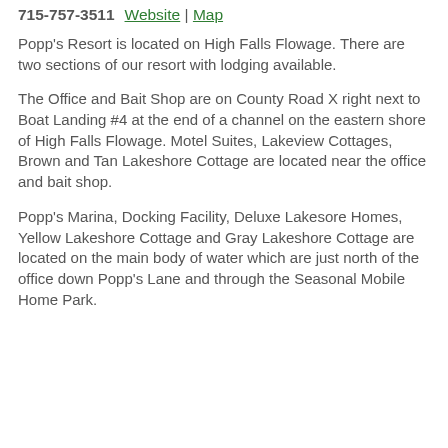715-757-3511   Website | Map
Popp's Resort is located on High Falls Flowage.  There are two sections of our resort with lodging available.
The Office and Bait Shop are on County Road X right next to Boat Landing #4 at the end of a channel on the eastern shore of High Falls Flowage.  Motel Suites, Lakeview Cottages, Brown and Tan Lakeshore Cottage are located near the office and bait shop.
Popp's Marina, Docking Facility, Deluxe Lakesore Homes, Yellow Lakeshore Cottage and Gray Lakeshore Cottage are located on the main body of water which are just north of the office down Popp's Lane and through the Seasonal Mobile Home Park.